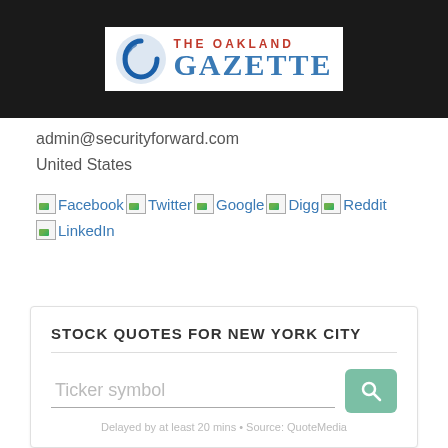[Figure (logo): The Oakland Gazette logo with blue circular icon and red/blue text on dark header background]
admin@securityforward.com
United States
[Figure (other): Social media icon links: Facebook, Twitter, Google, Digg, Reddit, LinkedIn shown as broken image placeholders with link text]
STOCK QUOTES FOR NEW YORK CITY
Ticker symbol
Delayed by at least 20 mins • Source: QuoteMedia